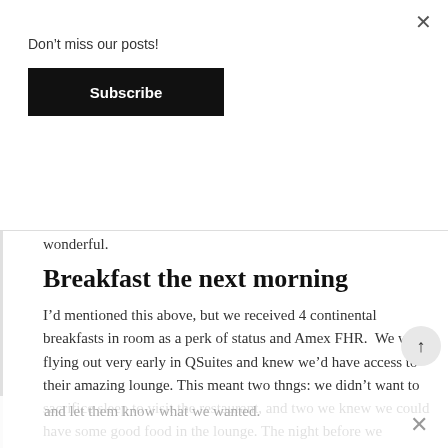Don't miss our posts!
Subscribe
wonderful.
Breakfast the next morning
I'd mentioned this above, but we received 4 continental breakfasts in room as a perk of status and Amex FHR.  We were flying out very early in QSuites and knew we'd have access to their amazing lounge. This meant two thngs: we didn't want to sacrifice sleep to visit the restaurant, and two we knew we could have some good food in the lounge. The night before we message the butler
and let them know what we wanted.